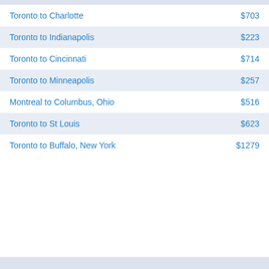| Route | Price |
| --- | --- |
| Toronto to Charlotte | $703 |
| Toronto to Indianapolis | $223 |
| Toronto to Cincinnati | $714 |
| Toronto to Minneapolis | $257 |
| Montreal to Columbus, Ohio | $516 |
| Toronto to St Louis | $623 |
| Toronto to Buffalo, New York | $1279 |